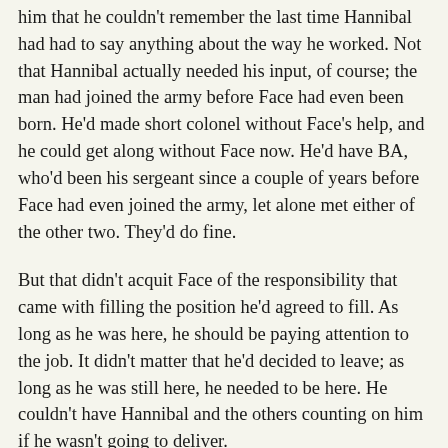him that he couldn't remember the last time Hannibal had had to say anything about the way he worked. Not that Hannibal actually needed his input, of course; the man had joined the army before Face had even been born. He'd made short colonel without Face's help, and he could get along without Face now. He'd have BA, who'd been his sergeant since a couple of years before Face had even joined the army, let alone met either of the other two. They'd do fine.
But that didn't acquit Face of the responsibility that came with filling the position he'd agreed to fill. As long as he was here, he should be paying attention to the job. It didn't matter that he'd decided to leave; as long as he was still here, he needed to be here. He couldn't have Hannibal and the others counting on him if he wasn't going to deliver.
He rubbed Murdock's shoulder and the sleeping man pushed a little closer. Face leaned his head back on the seatback and closed his eyes. Why did life have to be so goddamned complicated?
Hannibal glanced in the rear-view mirror; both of them were asleep. He looked out the window as BA negotiated the change of highway from 78 to 52. Once they were smoothly underway, heading north through the flat South Carolina landscape, he pulled out a cigar and started the ritual of getting smoking underway. Then he took a long puff and said, keeping his voice low, "What do